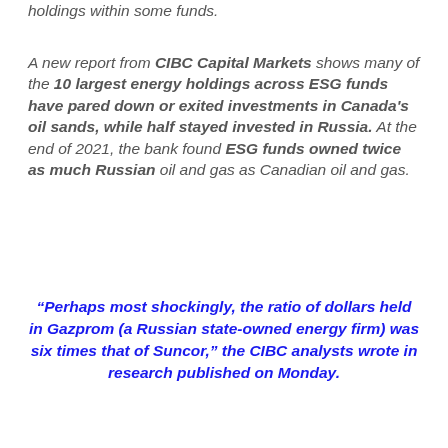holdings within some funds.
A new report from CIBC Capital Markets shows many of the 10 largest energy holdings across ESG funds have pared down or exited investments in Canada's oil sands, while half stayed invested in Russia. At the end of 2021, the bank found ESG funds owned twice as much Russian oil and gas as Canadian oil and gas.
“Perhaps most shockingly, the ratio of dollars held in Gazprom (a Russian state-owned energy firm) was six times that of Suncor,” the CIBC analysts wrote in research published on Monday.